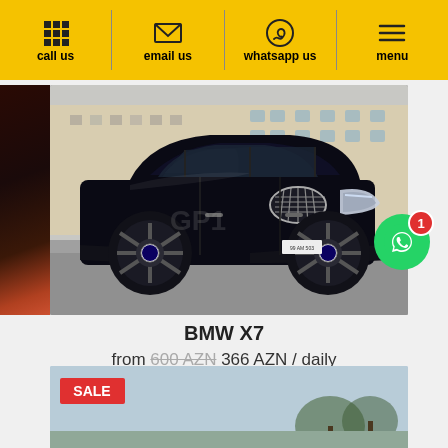call us | email us | whatsapp us | menu
[Figure (photo): Black BMW X7 SUV parked on a city street with a historic building in the background]
BMW X7
from 600 AZN 366 AZN / daily
[Figure (photo): Partially visible second car listing with a SALE badge in red]